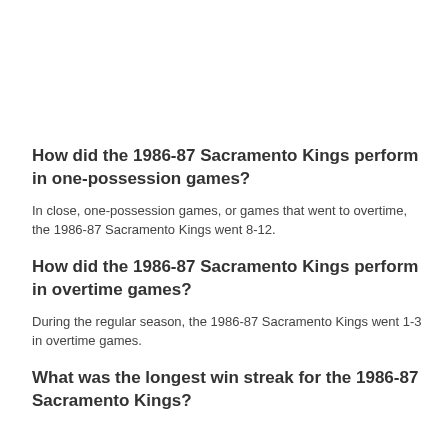How did the 1986-87 Sacramento Kings perform in one-possession games?
In close, one-possession games, or games that went to overtime, the 1986-87 Sacramento Kings went 8-12.
How did the 1986-87 Sacramento Kings perform in overtime games?
During the regular season, the 1986-87 Sacramento Kings went 1-3 in overtime games.
What was the longest win streak for the 1986-87 Sacramento Kings?